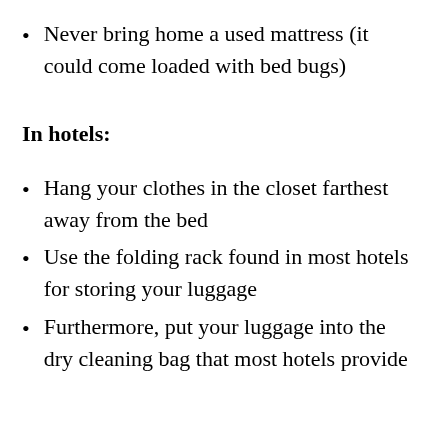Never bring home a used mattress (it could come loaded with bed bugs)
In hotels:
Hang your clothes in the closet farthest away from the bed
Use the folding rack found in most hotels for storing your luggage
Furthermore, put your luggage into the dry cleaning bag that most hotels provide